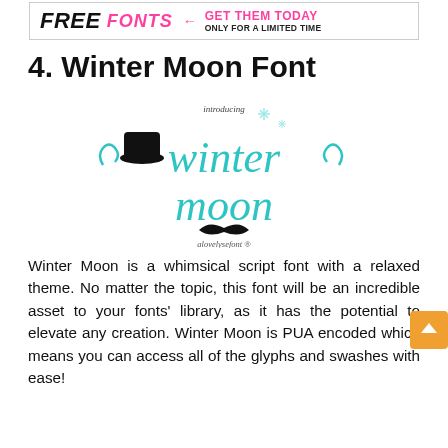[Figure (illustration): Banner advertisement: FREE FONTS GET THEM TODAY ONLY FOR A LIMITED TIME in black and pink bold italic text]
4. Winter Moon Font
[Figure (illustration): Winter Moon font logo preview: handwritten teal script font showing 'winter moon' with decorative swirls, a top hat, sparkles, a mustache, and 'alovely sefont' tagline]
Winter Moon is a whimsical script font with a relaxed theme. No matter the topic, this font will be an incredible asset to your fonts' library, as it has the potential to elevate any creation. Winter Moon is PUA encoded which means you can access all of the glyphs and swashes with ease!